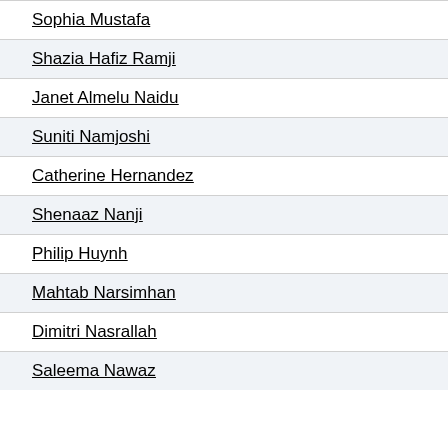Sophia Mustafa
Shazia Hafiz Ramji
Janet Almelu Naidu
Suniti Namjoshi
Catherine Hernandez
Shenaaz Nanji
Philip Huynh
Mahtab Narsimhan
Dimitri Nasrallah
Saleema Nawaz